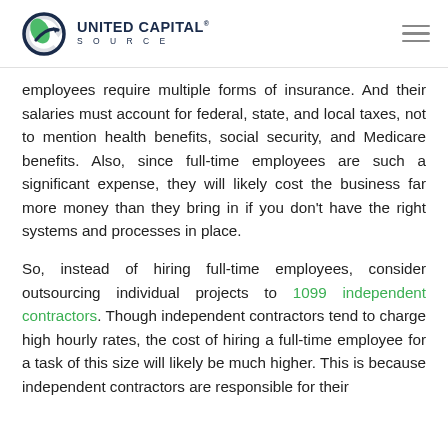UNITED CAPITAL SOURCE
employees require multiple forms of insurance. And their salaries must account for federal, state, and local taxes, not to mention health benefits, social security, and Medicare benefits. Also, since full-time employees are such a significant expense, they will likely cost the business far more money than they bring in if you don't have the right systems and processes in place.
So, instead of hiring full-time employees, consider outsourcing individual projects to 1099 independent contractors. Though independent contractors tend to charge high hourly rates, the cost of hiring a full-time employee for a task of this size will likely be much higher. This is because independent contractors are responsible for their